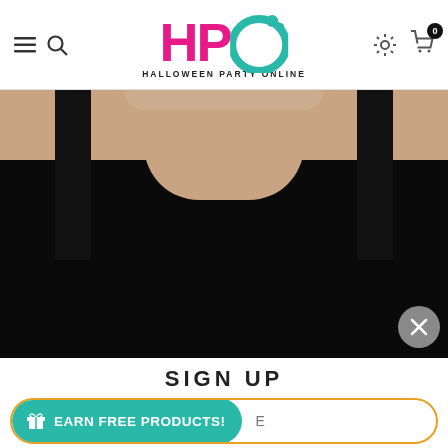[Figure (screenshot): Website header for Halloween Party Online (HPO) with hamburger menu, search icon, logo with pink H and teal O letters, gear icon, and cart icon with badge showing 0]
[Figure (photo): Person wearing a black sleeveless tank top, showing neck and shoulders, cropped photo from neck to mid-torso]
SIGN UP
[Figure (screenshot): Teal pill-shaped button with gift icon and text EARN FREE PRODUCTS! next to an input field bordered in orange, partially showing letter E]